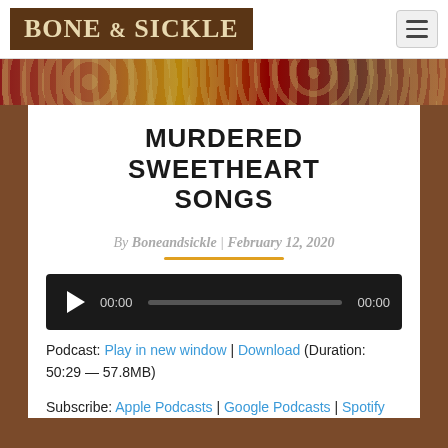BONE & SICKLE
[Figure (photo): Decorative floral pattern banner image with dark red, brown, and gold tones]
MURDERED SWEETHEART SONGS
By Boneandsickle | February 12, 2020
[Figure (other): Audio player with play button, progress bar showing 00:00 / 00:00]
Podcast: Play in new window | Download (Duration: 50:29 — 57.8MB)
Subscribe: Apple Podcasts | Google Podcasts | Spotify